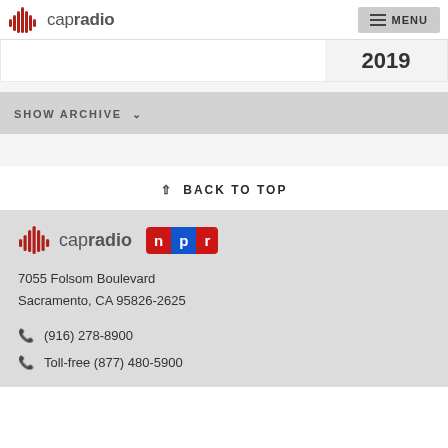capradio | MENU
2019
SHOW ARCHIVE ∨
↑ BACK TO TOP
[Figure (logo): CapRadio logo with sound wave icon and NPR badge]
7055 Folsom Boulevard
Sacramento, CA 95826-2625
(916) 278-8900
Toll-free (877) 480-5900